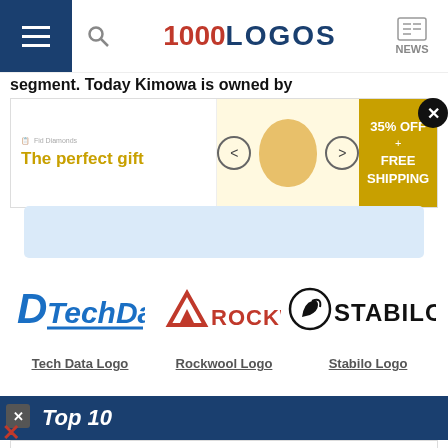1000LOGOS NEWS
segment. Today Kimowa is owned by
[Figure (infographic): Advertisement banner: 'The perfect gift' with food bowl image, navigation arrows, and '35% OFF + FREE SHIPPING' yellow box]
[Figure (logo): Tech Data logo - blue italic D with TechData text and underline]
[Figure (logo): Rockwool logo - red triangle A icon with ROCKWOOL text in red]
[Figure (logo): Stabilo logo - swan circle icon with STABILO bold black text]
Tech Data Logo
Rockwool Logo
Stabilo Logo
Top 10
[Figure (infographic): Second advertisement banner partial: 'The perfect gift' with food bowl image and '35% OFF + FREE SHIPPING' yellow box]